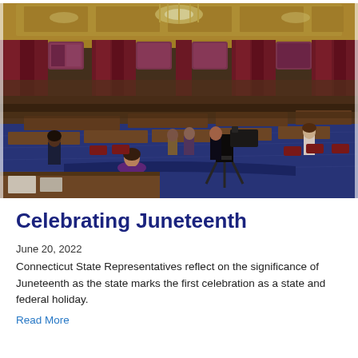[Figure (photo): Interior of the Connecticut State Capitol chamber during a Juneteenth celebration event. The ornate chamber features dark wood desks, blue patterned carpet, red curtains, stained glass windows, and a chandelier. Several people are seated or standing, including a woman in a purple shirt in the foreground and a TV camera operator in the center. Some desks are empty.]
Celebrating Juneteenth
June 20, 2022
Connecticut State Representatives reflect on the significance of Juneteenth as the state marks the first celebration as a state and federal holiday.
Read More